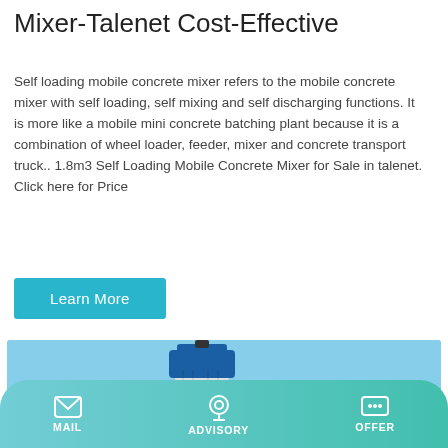Mixer-Talenet Cost-Effective
Self loading mobile concrete mixer refers to the mobile concrete mixer with self loading, self mixing and self discharging functions. It is more like a mobile mini concrete batching plant because it is a combination of wheel loader, feeder, mixer and concrete transport truck.. 1.8m3 Self Loading Mobile Concrete Mixer for Sale in talenet. Click here for Price
Learn More
[Figure (photo): Industrial concrete batching plant with a tall white cylindrical silo topped with a blue cap, yellow mixing equipment below, surrounded by trees under a clear blue sky.]
MAIL  ADVISORY  OFFER